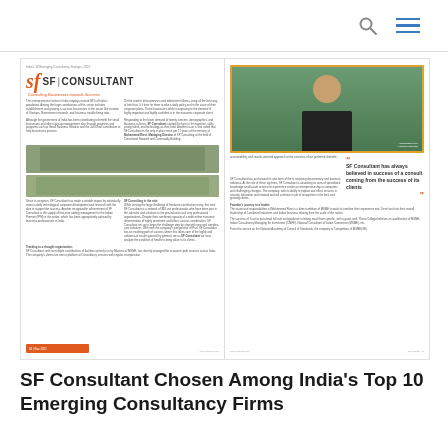[navigation header with search and menu icons]
[Figure (photo): Magazine spread showing SF Consultant article. Left page shows SF Consultant logo with orange icon, body text in two columns, group photos, and an orange footer bar. Right page shows a portrait photo of Mohammed Rizvi Managing Director with an orange border, body text, and a pull quote reading: SF Consultant has always believed in success of a consult coming from the success of its clients]
SF Consultant Chosen Among India's Top 10 Emerging Consultancy Firms